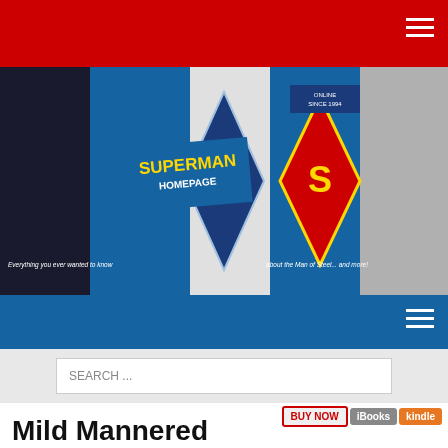Superman Homepage website header with red top bar and hamburger menu
[Figure (illustration): Superman Homepage banner with comic book characters, Superman logo, Daily Planet diamond, and taglines 'Everything you ever wanted to know' and 'about the Man of Steel... and more!']
Blue navigation bar with hamburger menu
SEARCH ...
Mild Mannered Reviews - Superman: Coming of the Supermen Comics
BUY NOW  iBooks  kindle
Superman: Coming of the Supermen #4
Scheduled to arrive in stores: May 4
Privacy Preferences
I Agree